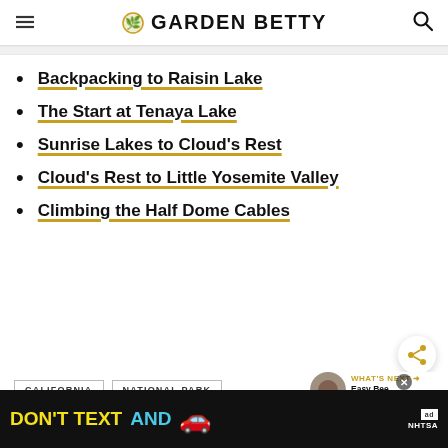Garden Betty
Backpacking to Raisin Lake
The Start at Tenaya Lake
Sunrise Lakes to Cloud's Rest
Cloud's Rest to Little Yosemite Valley
Climbing the Half Dome Cables
CALIFORNIA   NATIONAL PARK
WHAT'S NEXT → Easy Bee Identificatio...
ADVERTISEMENT
DON'T TEXT AND